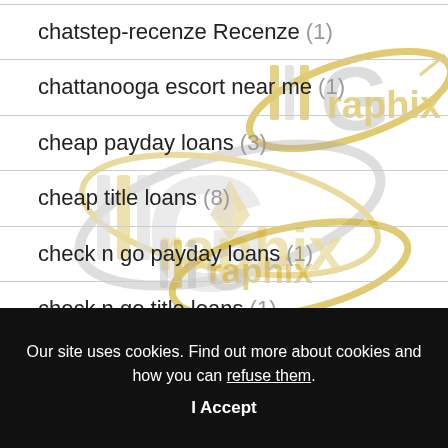chatstep-recenze Recenze (1)
chattanooga escort near me (1)
cheap payday loans (3)
cheap title loans (8)
check n go payday loans (1)
check n go title loans (1)
Our site uses cookies. Find out more about cookies and how you can refuse them.
I Accept